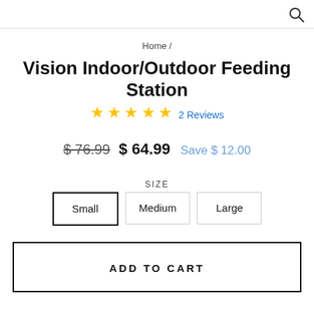Home /
Vision Indoor/Outdoor Feeding Station
★★★★★ 2 Reviews
$ 76.99  $ 64.99  Save $ 12.00
SIZE
Small  Medium  Large
ADD TO CART